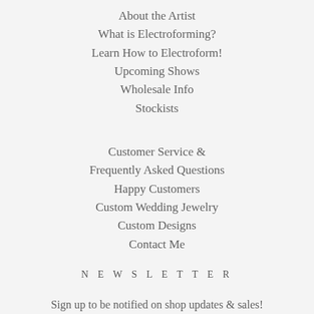About the Artist
What is Electroforming?
Learn How to Electroform!
Upcoming Shows
Wholesale Info
Stockists
Customer Service & Frequently Asked Questions
Happy Customers
Custom Wedding Jewelry
Custom Designs
Contact Me
NEWSLETTER
Sign up to be notified on shop updates & sales!